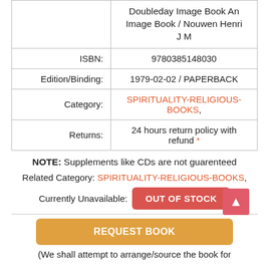|  |  |
| --- | --- |
|  | Doubleday Image Book An Image Book / Nouwen Henri J M |
| ISBN: | 9780385148030 |
| Edition/Binding: | 1979-02-02 / PAPERBACK |
| Category: | SPIRITUALITY-RELIGIOUS-BOOKS, |
| Returns: | 24 hours return policy with refund * |
NOTE: Supplements like CDs are not guarenteed
Related Category: SPIRITUALITY-RELIGIOUS-BOOKS,
Currently Unavailable: OUT OF STOCK
REQUEST BOOK
(We shall attempt to arrange/source the book for